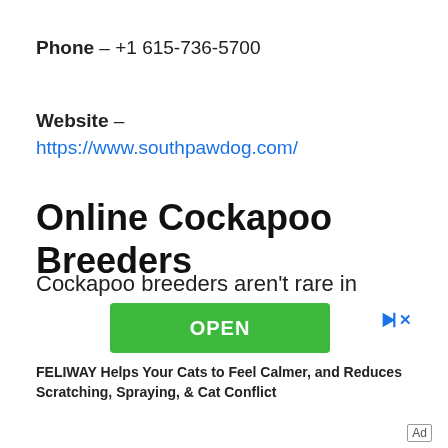Phone – +1 615-736-5700
Website –
https://www.southpawdog.com/
Online Cockapoo Breeders
Cockapoo breeders aren't rare in Tennessee. You will likely find several options through the list we made. Still, it won't guarantee that you'll find available
[Figure (other): Advertisement banner with green OPEN button, play and close icons, and text: FELIWAY Helps Your Cats to Feel Calmer, and Reduces Scratching, Spraying, & Cat Conflict. Ad label in bottom right corner.]